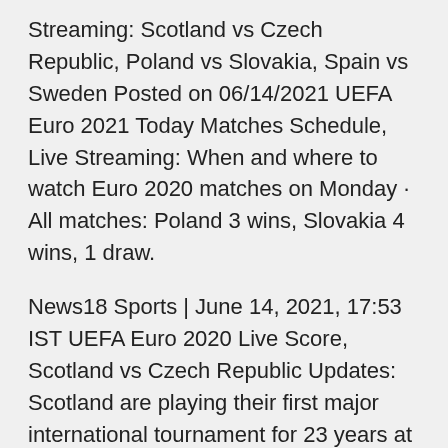Streaming: Scotland vs Czech Republic, Poland vs Slovakia, Spain vs Sweden Posted on 06/14/2021 UEFA Euro 2021 Today Matches Schedule, Live Streaming: When and where to watch Euro 2020 matches on Monday · All matches: Poland 3 wins, Slovakia 4 wins, 1 draw.
News18 Sports | June 14, 2021, 17:53 IST UEFA Euro 2020 Live Score, Scotland vs Czech Republic Updates: Scotland are playing their first major international tournament for 23 years at Euro 2020, they take on the Czech Slovakia vs Sweden, 18 June, 15:00 (Krestovsky Stadium, St. Petersburg) Slovakia vs Spain, 23 June, 18:00 (Estadio La Cartuja, Sevilla) What are the odds of Slovakia winning EURO 2020? Spain are undoubted favourites to take top spot, but one false move could lot in the likes of Poland, Sweden and Slovakia. Euro